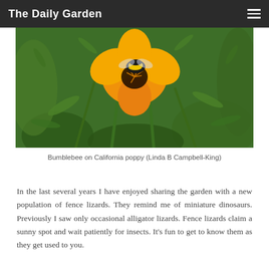The Daily Garden
[Figure (photo): Close-up photo of a bumblebee on an orange California poppy flower, surrounded by green foliage]
Bumblebee on California poppy (Linda B Campbell-King)
In the last several years I have enjoyed sharing the garden with a new population of fence lizards. They remind me of miniature dinosaurs. Previously I saw only occasional alligator lizards. Fence lizards claim a sunny spot and wait patiently for insects. It's fun to get to know them as they get used to you.